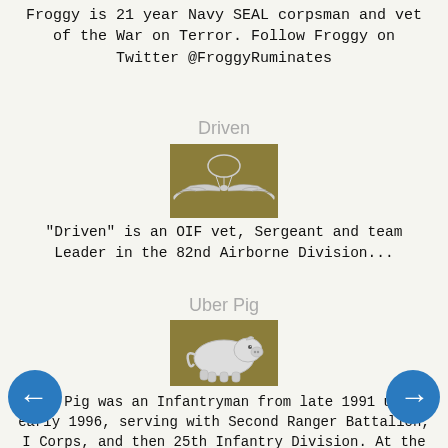Froggy is 21 year Navy SEAL corpsman and vet of the War on Terror. Follow Froggy on Twitter @FroggyRuminates
Driven
[Figure (illustration): Military airborne wings badge on olive/gold background]
"Driven" is an OIF vet, Sergeant and team Leader in the 82nd Airborne Division...
Uber Pig
[Figure (illustration): Cartoon pig illustration on olive/gold background]
Uber Pig was an Infantryman from late 1991 until early 1996, serving with Second Ranger Battalion, I Corps, and then 25th Infantry Division. At the time, the Army discriminated against enlisted soldiers who wanted use the "Green to Gold" program to become officers, so he left to attend Stanford University. Then he became expert in detecting, avoiding, and surviving L-shaped ambushes, before dropping out to be as entrepreneurial as he could be. He